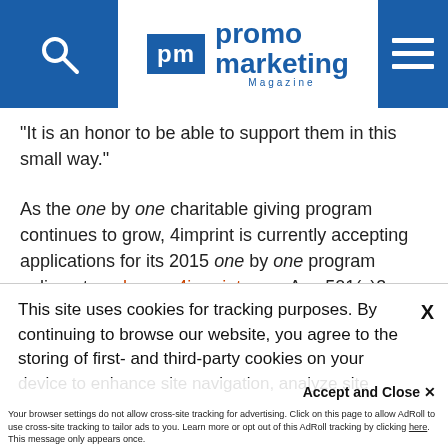promo marketing Magazine
“It is an honor to be able to support them in this small way.”
As the one by one charitable giving program continues to grow, 4imprint is currently accepting applications for its 2015 one by one program online at onebyone.4imprint.com. Any 501(c)3 organization, registered Canadian charity, school or religious organization is eligible to apply.
This site uses cookies for tracking purposes. By continuing to browse our website, you agree to the storing of first- and third-party cookies on your device to enhance site navigation, analyze site usage, and assist in our marketing and
Accept and Close ✕
Your browser settings do not allow cross-site tracking for advertising. Click on this page to allow AdRoll to use cross-site tracking to tailor ads to you. Learn more or opt out of this AdRoll tracking by clicking here. This message only appears once.